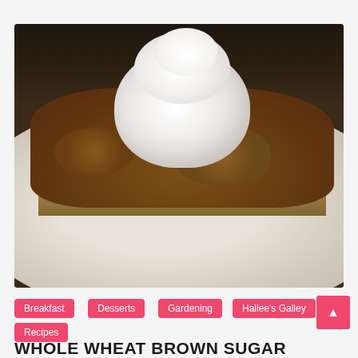[Figure (photo): A plate of apple crumble dessert topped with a large dollop of whipped cream, served on a white plate against a dark background]
Breakfast
Desserts
Gardening
Hallee's Galley
Recipes
WHOLE WHEAT BROWN SUGAR APPLE